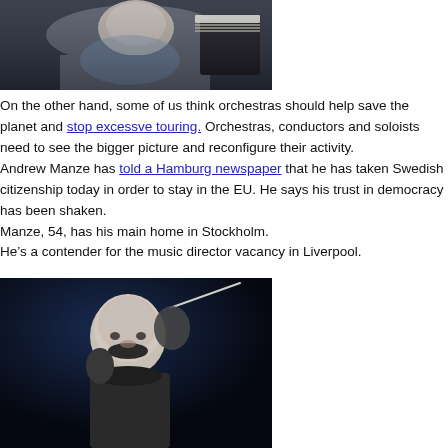[Figure (photo): A musician or conductor sitting near a piano with sheet music visible, wearing a light blue shirt, partially visible in upper portion of image.]
On the other hand, some of us think orchestras should help save the planet and stop excessve touring. Orchestras, conductors and soloists need to see the bigger picture and reconfigure their activity.
Andrew Manze has told a Hamburg newspaper that he has taken Swedish citizenship today in order to stay in the EU. He says his trust in democracy has been shaken.
Manze, 54, has his main home in Stockholm.
He's a contender for the music director vacancy in Liverpool.
[Figure (photo): A bald conductor in a dark jacket, holding a baton raised, conducting with intense expression, photographed against a dark blue background.]